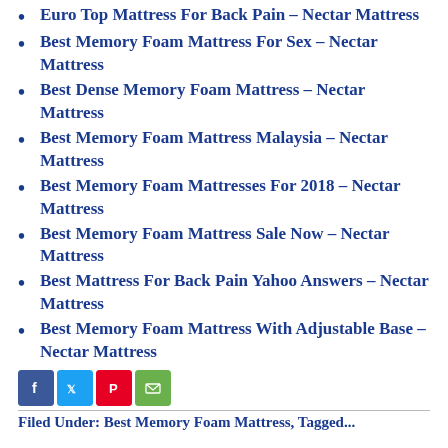Euro Top Mattress For Back Pain – Nectar Mattress
Best Memory Foam Mattress For Sex – Nectar Mattress
Best Dense Memory Foam Mattress – Nectar Mattress
Best Memory Foam Mattress Malaysia – Nectar Mattress
Best Memory Foam Mattresses For 2018 – Nectar Mattress
Best Memory Foam Mattress Sale Now – Nectar Mattress
Best Mattress For Back Pain Yahoo Answers – Nectar Mattress
Best Memory Foam Mattress With Adjustable Base – Nectar Mattress
[Figure (infographic): Social sharing icons: Facebook, Twitter, Pinterest, Email]
Filed Under: Best Memory Foam Mattress, Tagged...